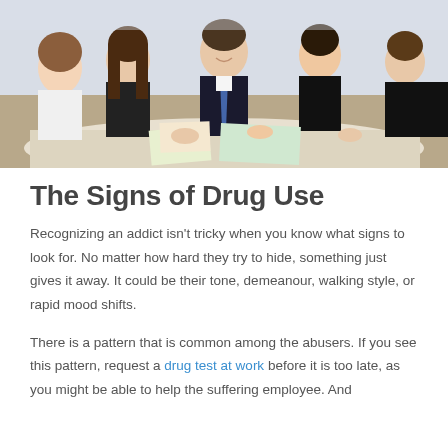[Figure (photo): Group of business professionals in a meeting around a table, smiling and collaborating. Several people visible including men and women in business attire.]
The Signs of Drug Use
Recognizing an addict isn't tricky when you know what signs to look for. No matter how hard they try to hide, something just gives it away. It could be their tone, demeanour, walking style, or rapid mood shifts.
There is a pattern that is common among the abusers. If you see this pattern, request a drug test at work before it is too late, as you might be able to help the suffering employee. And